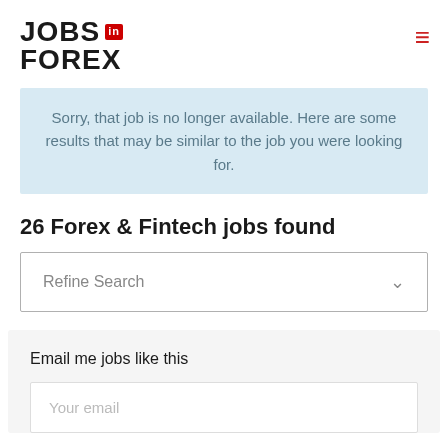JOBS in FOREX
Sorry, that job is no longer available. Here are some results that may be similar to the job you were looking for.
26 Forex & Fintech jobs found
Refine Search
Email me jobs like this
Your email